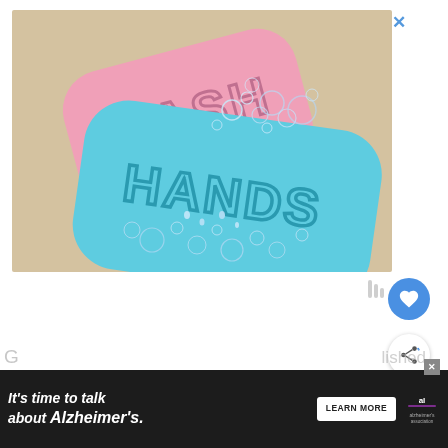[Figure (photo): Two bars of soap on a beige background with soap bubbles. A pink bar of soap embossed with 'WASH' sits behind a teal/blue bar embossed with 'HANDS'. Water droplets and iridescent bubbles surround the soaps.]
[Figure (illustration): Close-up thumbnail of a person with red nails and lips, used as 'What's Next' preview image.]
WHAT'S NEXT → 90 Simple & Easy Nail...
It's time to talk about Alzheimer's.
LEARN MORE